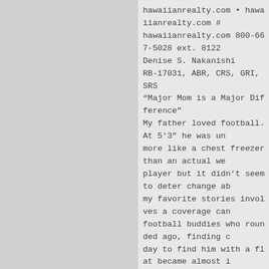hawaiianrealty.com • hawaiianrealty.com # hawaiianrealty.com 800-667-5028 ext. 8122
Denise S. Nakanishi
RB-17031, ABR, CRS, GRI, SRS
“Major Mom is a Major Difference”
My father loved football. At 5′3” he was un more like a chest freezer than an actual we player but it didn’t seem to deter change ab my favorite stories involves a coverage can football buddies who rounded ago, finding c day to find him with a flat became almost i full of ice. They asked if he exceed the $3 told them that he would guaranteed plan cre they could just put the tire Owners must ch one. He was tough. Few people coverage...bu he was very In zone 3 (Hilo, Keaau to Ainal carrier, USAA, traditionally among the most writing new policies years Here’s the thing Farm spoke, we listened. He talked a and Al deal about football, fishing zones 1&2. Not